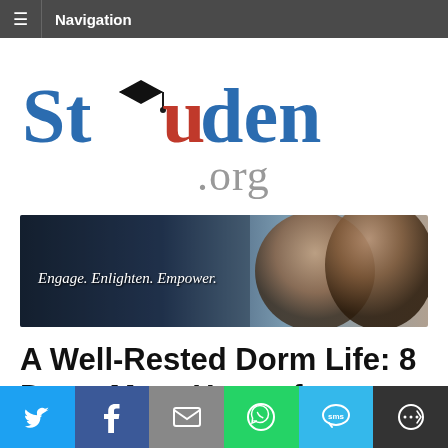Navigation
[Figure (logo): Students.org logo with graduation cap icon replacing the 'u' in Students, text in blue serif font with .org in gray]
[Figure (photo): Banner photo of students with text: Engage. Enlighten. Empower.]
A Well-Rested Dorm Life: 8 Dorm Must-Haves for Better
[Figure (infographic): Social share bar with Twitter, Facebook, Email, WhatsApp, SMS, and More buttons]